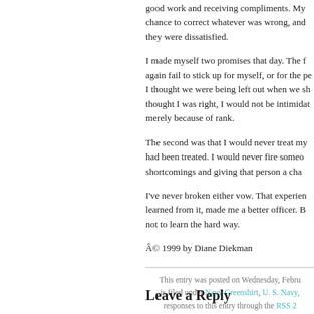good work and receiving compliments. My chance to correct whatever was wrong, and they were dissatisfied.
I made myself two promises that day. The f again fail to stick up for myself, or for the pe I thought we were being left out when we sh thought I was right, I would not be intimidat merely because of rank.
The second was that I would never treat my had been treated. I would never fire someo shortcomings and giving that person a cha
I've never broken either vow. That experien learned from it, made me a better officer. B not to learn the hard way.
© 1999 by Diane Diekman
This entry was posted on Wednesday, Febru is filed under Navy Greenshirt, U. S. Navy, responses to this entry through the RSS 2 response, or trackback from y
Leave a Reply